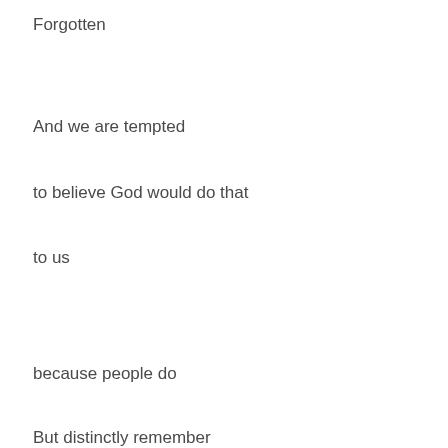Forgotten
And we are tempted
to believe God would do that
to us
because people do
But distinctly remember